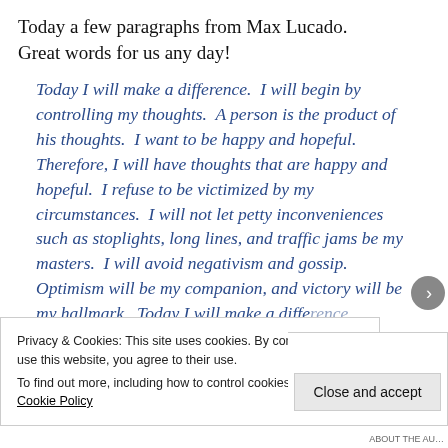Today a few paragraphs from Max Lucado. Great words for us any day!
Today I will make a difference.  I will begin by controlling my thoughts.  A person is the product of his thoughts.  I want to be happy and hopeful.  Therefore, I will have thoughts that are happy and hopeful.  I refuse to be victimized by my circumstances.  I will not let petty inconveniences such as stoplights, long lines, and traffic jams be my masters.  I will avoid negativism and gossip.  Optimism will be my companion, and victory will be my hallmark.  Today I will make a difference.
Privacy & Cookies: This site uses cookies. By continuing to use this website, you agree to their use.
To find out more, including how to control cookies, see here: Cookie Policy